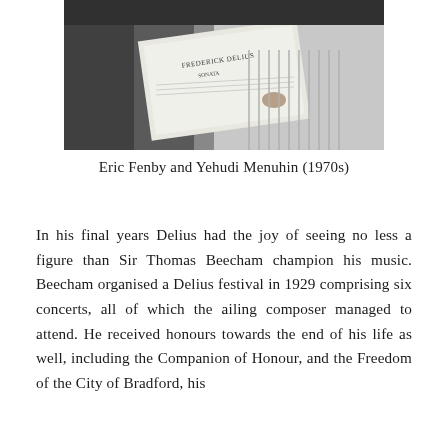[Figure (photo): Black and white photograph of two people, one holding open a sheet music score with 'Frederick Delius' visible on the cover. The person on the right wears a ribbed knit sweater.]
Eric Fenby and Yehudi Menuhin (1970s)
In his final years Delius had the joy of seeing no less a figure than Sir Thomas Beecham champion his music. Beecham organised a Delius festival in 1929 comprising six concerts, all of which the ailing composer managed to attend. He received honours towards the end of his life as well, including the Companion of Honour, and the Freedom of the City of Bradford, his